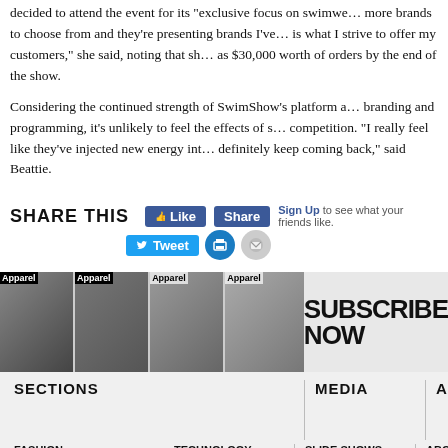decided to attend the event for its “exclusive focus on swimwe... more brands to choose from and they’re presenting brands I’ve... is what I strive to offer my customers,” she said, noting that sh... as $30,000 worth of orders by the end of the show.
Considering the continued strength of SwimShow’s platform a... branding and programming, it’s unlikely to feel the effects of s... competition. “I really feel like they’ve injected new energy int... definitely keep coming back,” said Beattie.
[Figure (screenshot): Social sharing widget with Facebook Like, Share buttons, Sign Up link, Tweet button, print button, and email button]
[Figure (infographic): Apparel magazine subscribe now banner with multiple magazine cover thumbnails]
SECTIONS
MEDIA
ABOUT
FASHION
TECHNOLOGY
SLIDE SHOWS
ABOUT CAN
RUNWAY
FINANCE
VIDEOS
CONTACT
SWIMSURE
IMPORT/EXPORT
WEBINARS
MY ACCOUNT